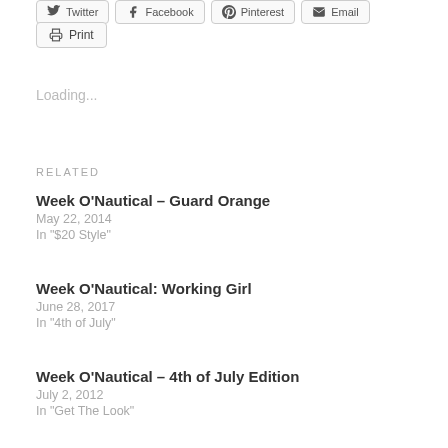[Figure (screenshot): Row of social share buttons: Twitter, Facebook, Pinterest, Email (partially visible at top)]
[Figure (screenshot): Print button with printer icon]
Loading...
RELATED
Week O'Nautical – Guard Orange
May 22, 2014
In "$20 Style"
Week O'Nautical: Working Girl
June 28, 2017
In "4th of July"
Week O'Nautical – 4th of July Edition
July 2, 2012
In "Get The Look"